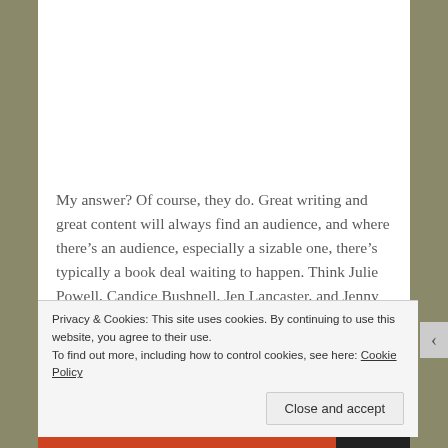My answer? Of course, they do. Great writing and great content will always find an audience, and where there's an audience, especially a sizable one, there's typically a book deal waiting to happen. Think Julie Powell, Candice Bushnell, Jen Lancaster, and Jenny Lawson.
Not to mention, entire empires (with books
Privacy & Cookies: This site uses cookies. By continuing to use this website, you agree to their use.
To find out more, including how to control cookies, see here: Cookie Policy